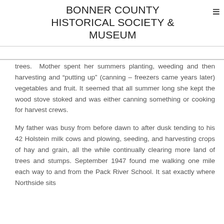BONNER COUNTY HISTORICAL SOCIETY & MUSEUM
trees. Mother spent her summers planting, weeding and then harvesting and “putting up” (canning – freezers came years later) vegetables and fruit. It seemed that all summer long she kept the wood stove stoked and was either canning something or cooking for harvest crews.
My father was busy from before dawn to after dusk tending to his 42 Holstein milk cows and plowing, seeding, and harvesting crops of hay and grain, all the while continually clearing more land of trees and stumps. September 1947 found me walking one mile each way to and from the Pack River School. It sat exactly where Northside sits